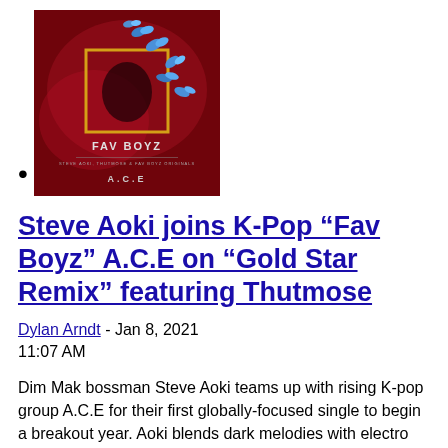[Figure (photo): Album cover art for 'Fav Boyz' by A.C.E featuring dark red/crimson background with blue butterflies and a gold square frame in the center. Text reads 'FAV BOYZ' and 'A.C.E' at the bottom.]
Steve Aoki joins K-Pop “Fav Boyz” A.C.E on “Gold Star Remix” featuring Thutmose
Dylan Arndt - Jan 8, 2021 11:07 AM
Dim Mak bossman Steve Aoki teams up with rising K-pop group A.C.E for their first globally-focused single to begin a breakout year. Aoki blends dark melodies with electro stylings on back-to-back reworks of A.C.E’s original “Goblin (Favorite Boys).” Taking the collaboration fully global, Nigerian-American rapper Thutmose drops bars